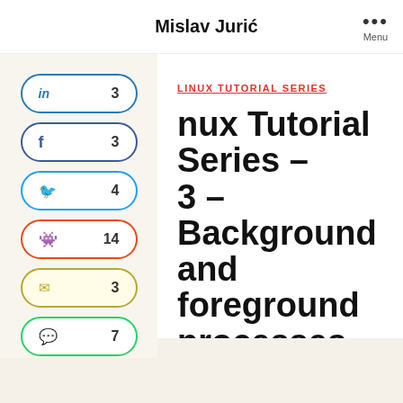Mislav Jurić
[Figure (infographic): Social share sidebar with LinkedIn (3), Facebook (3), Twitter (4), Reddit (14), Email (3), WhatsApp (7) share buttons]
LINUX TUTORIAL SERIES
Linux Tutorial Series – 3 – Background and Foreground processes
By Mislav  November 9, 2020  No Comments